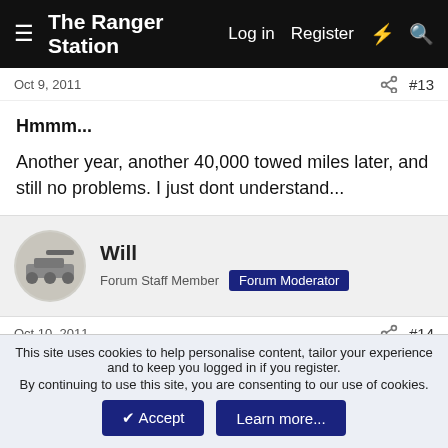The Ranger Station — Log in  Register
Oct 9, 2011  #13
Hmmm...

Another year, another 40,000 towed miles later, and still no problems. I just dont understand...
Will
Forum Staff Member  Forum Moderator
Oct 10, 2011  #14
I guess since it isn't under load it needs less lube. I wouldn't do it unless the manual says it's okay. My '91 book says (manual or auto) 50 miles max on the rear wheels, 35mph
This site uses cookies to help personalise content, tailor your experience and to keep you logged in if you register.
By continuing to use this site, you are consenting to our use of cookies.